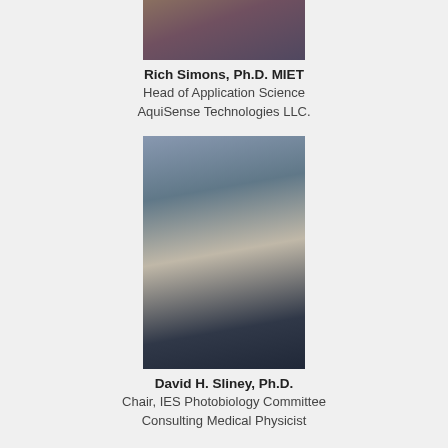[Figure (photo): Cropped headshot photo of Rich Simons, showing upper body portion]
Rich Simons, Ph.D. MIET
Head of Application Science
AquiSense Technologies LLC.
[Figure (photo): Professional headshot photo of David H. Sliney, older gentleman in dark suit with tie, blue background]
David H. Sliney, Ph.D.
Chair, IES Photobiology Committee
Consulting Medical Physicist